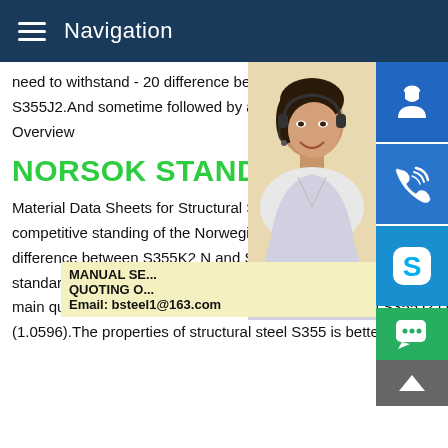Navigation
need to withstand - 20 difference between S355K2G4 material#176;C,it's better and S355J2.And sometime followed by a letter stands for hollow section.Material Properties Overview
NORSOK STANDARD
Material Data Sheets for Structural Steel M NORSOK Standard Page 2 of 4 FOREWO competitive standing of the Norwegian offs S355 Steel Properties,Comparison,Equivalent difference between S355K2 N and S355K2G4 material#0183;S355 steel is a European standard structural steel grade,according to EN 10025-2 2004,material S355 is divided into 4 main quality grades: S355JR (1.0045),S355J0 (1.0553),S355J2 (1.0577) and; S355K2 (1.0596).The properties of structural steel S355 is better than S355 and S355 is higher than...
[Figure (photo): Customer service representative woman with headset, smiling]
[Figure (infographic): Blue icon buttons: headset/support, phone, Skype; promo banner with MANUAL SE, QUOTING O, Email: bsteel1@163.com; green chat button; gray up arrow button]